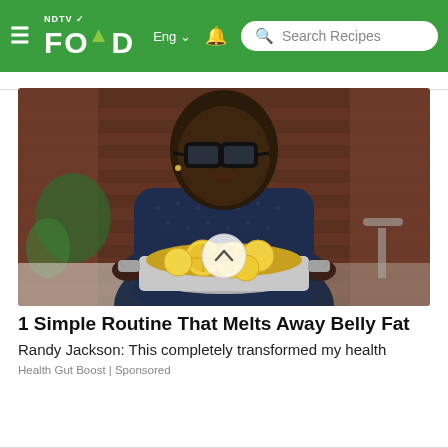NDTV FOOD Eng | Search Recipes
[Figure (photo): A man wearing glasses and a dark patterned shirt holding a large pot filled with lemon slices in liquid, in a kitchen setting with brick wall background. An overlaid circle scroll indicator is visible.]
1 Simple Routine That Melts Away Belly Fat
Randy Jackson: This completely transformed my health
Health Gut Boost | Sponsored